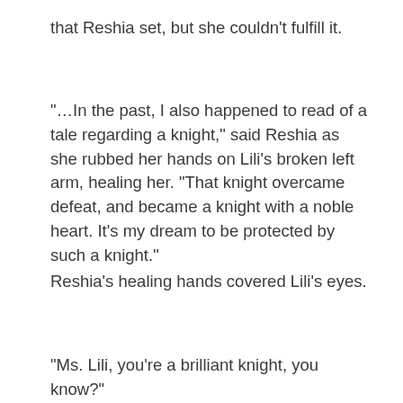that Reshia set, but she couldn't fulfill it.
“…In the past, I also happened to read of a tale regarding a knight,” said Reshia as she rubbed her hands on Lili's broken left arm, healing her. “That knight overcame defeat, and became a knight with a noble heart. It’s my dream to be protected by such a knight.”
Reshia’s healing hands covered Lili’s eyes.
“Ms. Lili, you’re a brilliant knight, you know?”